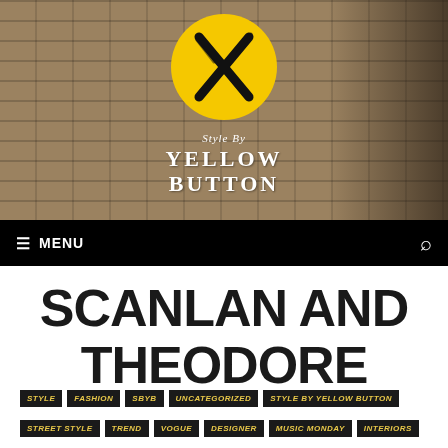[Figure (photo): Hero background image of a brick wall building exterior with blurred foreground, showing a logo overlay: a yellow circle with a black X brushstroke mark, and text reading 'Style By YELLOW BUTTON']
≡ MENU
SCANLAN AND THEODORE
STYLE  FASHION  SBYB  UNCATEGORIZED  STYLE BY YELLOW BUTTON
STREET STYLE  TREND  VOGUE  DESIGNER  MUSIC MONDAY  INTERIORS